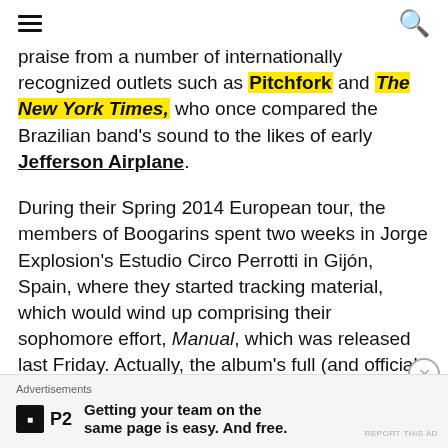[hamburger menu] [search icon]
praise from a number of internationally recognized outlets such as Pitchfork and The New York Times, who once compared the Brazilian band's sound to the likes of early Jefferson Airplane.
During their Spring 2014 European tour, the members of Boogarins spent two weeks in Jorge Explosion's Estudio Circo Perrotti in Gijón, Spain, where they started tracking material, which would wind up comprising their sophomore effort, Manual, which was released last Friday. Actually, the album's full (and official title) is Manual,ou guia livre de dissolução dos sonhos, which
Advertisements
Getting your team on the same page is easy. And free.